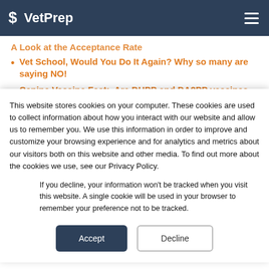VetPrep
A Look at the Acceptance Rate
Vet School, Would You Do It Again? Why so many are saying NO!
Canine Vaccine Fact:  Are DHPP and DA2PP vaccines the same thing?
This website stores cookies on your computer. These cookies are used to collect information about how you interact with our website and allow us to remember you. We use this information in order to improve and customize your browsing experience and for analytics and metrics about our visitors both on this website and other media. To find out more about the cookies we use, see our Privacy Policy.
If you decline, your information won’t be tracked when you visit this website. A single cookie will be used in your browser to remember your preference not to be tracked.